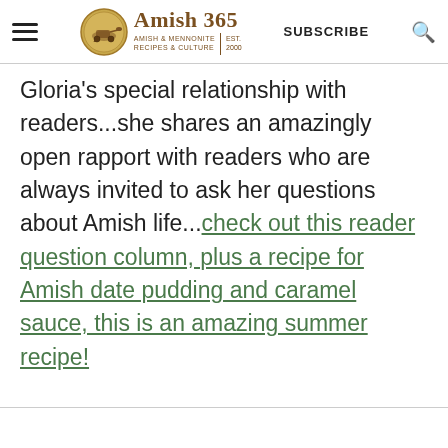Amish 365 | AMISH & MENNONITE RECIPES & CULTURE | EST. 2000 | SUBSCRIBE
Gloria's special relationship with readers...she shares an amazingly open rapport with readers who are always invited to ask her questions about Amish life...check out this reader question column, plus a recipe for Amish date pudding and caramel sauce, this is an amazing summer recipe!